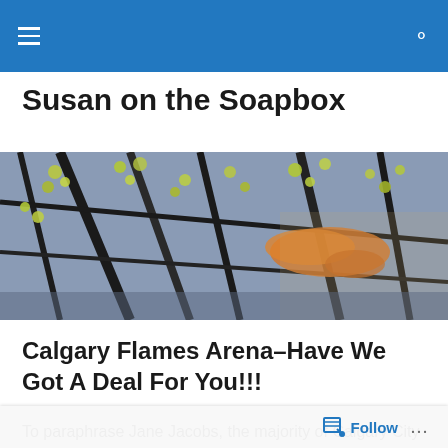Navigation bar with hamburger menu and search icon
Susan on the Soapbox
[Figure (photo): Decorative header image showing tree branches with small yellow-green leaves reflected on water, with orange koi fish visible]
Calgary Flames Arena–Have We Got A Deal For You!!!
To paraphrase Jane Jacobs, the majority of Calgary City Council regard Calgarians as “empty-headed young ladies
Follow ...